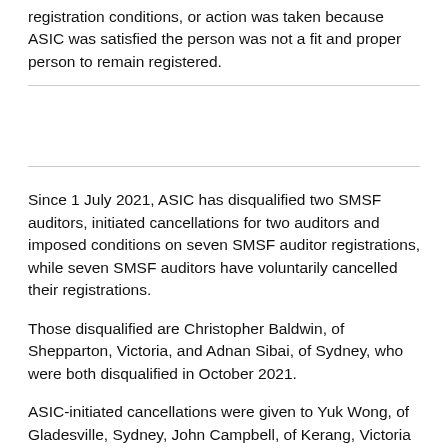registration conditions, or action was taken because ASIC was satisfied the person was not a fit and proper person to remain registered.
Since 1 July 2021, ASIC has disqualified two SMSF auditors, initiated cancellations for two auditors and imposed conditions on seven SMSF auditor registrations, while seven SMSF auditors have voluntarily cancelled their registrations.
Those disqualified are Christopher Baldwin, of Shepparton, Victoria, and Adnan Sibai, of Sydney, who were both disqualified in October 2021.
ASIC-initiated cancellations were given to Yuk Wong, of Gladesville, Sydney, John Campbell, of Kerang, Victoria